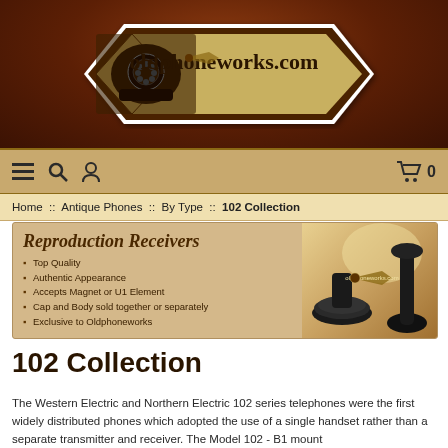[Figure (logo): oldphoneworks.com website logo with vintage rotary telephone illustration on a brown leather background, key/arrow shaped badge design]
Navigation bar with hamburger menu, search, account icons and shopping cart with 0 items
Home :: Antique Phones :: By Type :: 102 Collection
[Figure (infographic): Reproduction Receivers banner ad showing antique telephone receiver parts with bullet points: Top Quality, Authentic Appearance, Accepts Magnet or U1 Element, Cap and Body sold together or separately, Exclusive to Oldphoneworks]
102 Collection
The Western Electric and Northern Electric 102 series telephones were the first widely distributed phones which adopted the use of a single handset rather than a separate transmitter and receiver. The Model 102 - B1 mount